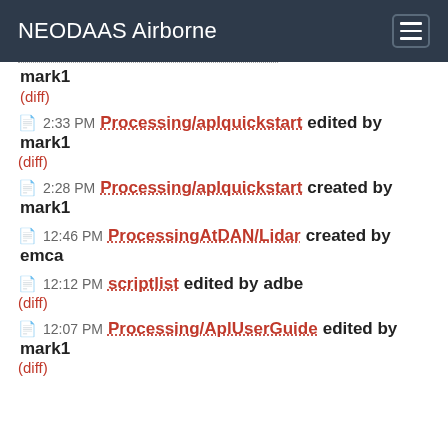NEODAAS Airborne
mark1 (diff)
2:33 PM Processing/aplquickstart edited by mark1 (diff)
2:28 PM Processing/aplquickstart created by mark1
12:46 PM ProcessingAtDAN/Lidar created by emca
12:12 PM scriptlist edited by adbe (diff)
12:07 PM Processing/AplUserGuide edited by mark1 (diff)